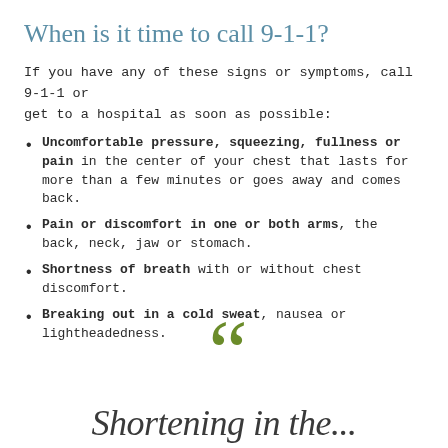When is it time to call 9-1-1?
If you have any of these signs or symptoms, call 9-1-1 or get to a hospital as soon as possible:
Uncomfortable pressure, squeezing, fullness or pain in the center of your chest that lasts for more than a few minutes or goes away and comes back.
Pain or discomfort in one or both arms, the back, neck, jaw or stomach.
Shortness of breath with or without chest discomfort.
Breaking out in a cold sweat, nausea or lightheadedness.
[Figure (illustration): Large green open quotation marks decorative element]
Shortening in the...